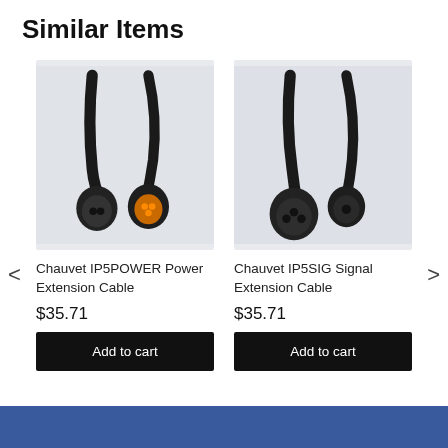Similar Items
[Figure (photo): Photo of Chauvet IP5POWER Power Extension Cable — two black cable connectors, one with orange contacts, on a light grey background]
Chauvet IP5POWER Power Extension Cable
$35.71
Add to cart
[Figure (photo): Photo of Chauvet IP5SIG Signal Extension Cable — two black cable connectors on a light grey background]
Chauvet IP5SIG Signal Extension Cable
$35.71
Add to cart